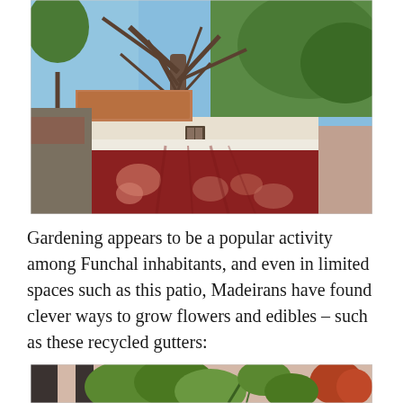[Figure (photo): Outdoor scene with a large dragon tree (Dracaena draco) with spreading bare branches against a blue sky, a terracotta-roofed white building in the background, and a prominent dark red/maroon painted wall in the foreground. Dappled tree shadows fall across the wall.]
Gardening appears to be a popular activity among Funchal inhabitants, and even in limited spaces such as this patio, Madeirans have found clever ways to grow flowers and edibles – such as these recycled gutters:
[Figure (photo): Partial view of a patio with recycled gutters used as planters, showing green tropical plants and foliage, partially cropped at the bottom of the page.]